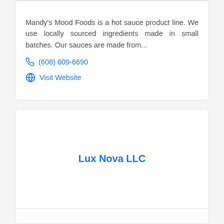Mandy's Mood Foods is a hot sauce product line. We use locally sourced ingredients made in small batches. Our sauces are made from...
(608) 609-6690
Visit Website
Lux Nova LLC